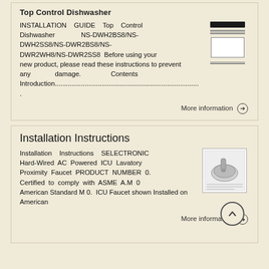Top Control Dishwasher
INSTALLATION GUIDE Top Control Dishwasher NS-DWH2BS8/NS-DWH2SS8/NS-DWR2BS8/NS-DWR2WH8/NS-DWR2SS8 Before using your new product, please read these instructions to prevent any damage. Contents Introduction..........................................................................................
.
More information →
Installation Instructions
Installation Instructions SELECTRONIC Hard-Wired AC Powered ICU Lavatory Proximity Faucet PRODUCT NUMBER 0. Certified to comply with ASME A.M 0 American Standard M 0. ICU Faucet shown Installed on American
More information →